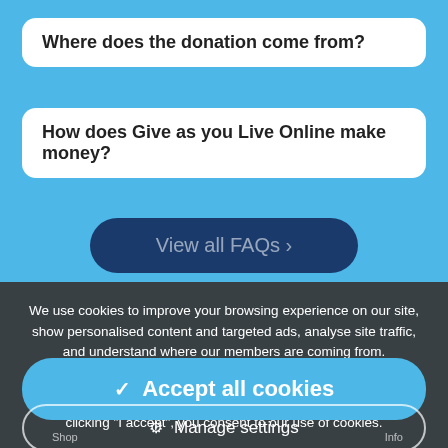Where does the donation come from?
How does Give as you Live Online make money?
View all FAQs >
We use cookies to improve your browsing experience on our site, show personalised content and targeted ads, analyse site traffic, and understand where our members are coming from.
To find out more, please read our cookie policy. In addition, you may wish to read our privacy policy and terms & conditions. By clicking "I accept", you consent to our use of cookies.
✓ Accept all cookies
⚙ Manage settings